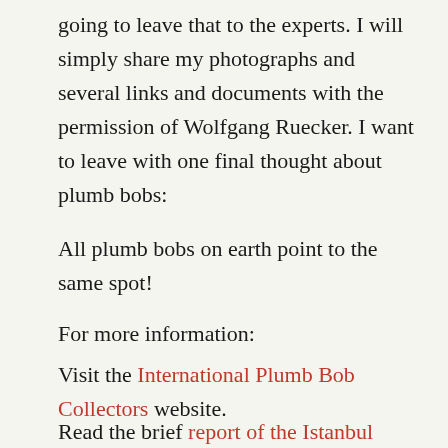going to leave that to the experts. I will simply share my photographs and several links and documents with the permission of Wolfgang Ruecker. I want to leave with one final thought about plumb bobs:
All plumb bobs on earth point to the same spot!
For more information:
Visit the International Plumb Bob Collectors website.
Read the brief report of the Istanbul meeting